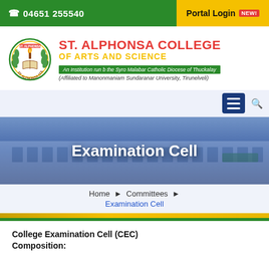☎ 04651 255540
Portal Login NEW!
[Figure (logo): St. Alphonsa College circular crest/logo with torch and book]
ST. ALPHONSA COLLEGE OF ARTS AND SCIENCE
An Institution run b the Syro Malabar Catholic Diocese of Thuckalay
(Affiliated to Manonmaniam Sundaranar University, Tirunelveli)
[Figure (screenshot): Navigation bar with hamburger menu icon and search icon]
[Figure (photo): Hero banner showing college building with overlay text 'Examination Cell']
Home ▸ Committees ▸
Examination Cell
College Examination Cell (CEC)
Composition: